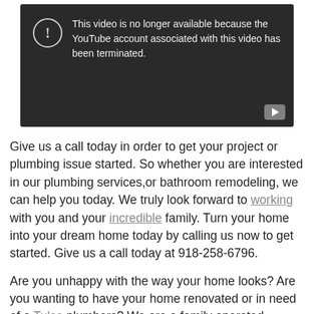[Figure (screenshot): YouTube video unavailable error screen with dark background, warning icon with exclamation mark, text reading 'This video is no longer available because the YouTube account associated with this video has been terminated.' and a play button in the bottom right corner.]
Give us a call today in order to get your project or plumbing issue started. So whether you are interested in our plumbing services,or bathroom remodeling, we can help you today. We truly look forward to working with you and your incredible family. Turn your home into your dream home today by calling us now to get started. Give us a call today at 918-258-6796.
Are you unhappy with the way your home looks? Are you wanting to have your home renovated or in need of a Tulsa plumbers? We are a family operated company and business, so whenever we are working with you, you'll be able to become a part of our family today. We treat you so well and by providing you with